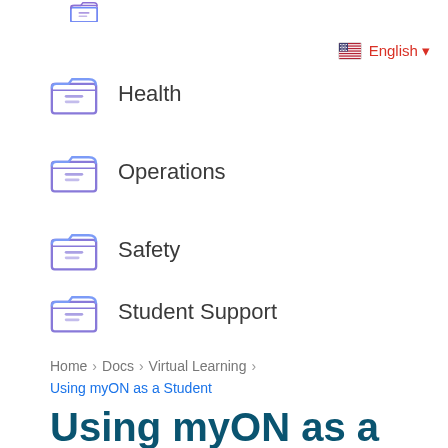[Figure (illustration): Partial purple folder icon at top of page, cropped]
English ▾
Health
Operations
Safety
Student Support
Home > Docs > Virtual Learning >
Using myON as a Student
Using myON as a Student